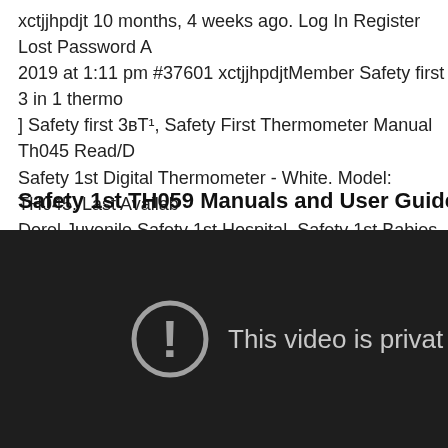xctjjhpdjt 10 months, 4 weeks ago. Log In Register Lost Password A 2019 at 1:11 pm #37601 xctjjhpdjtMember Safety first 3 in 1 thermo ] Safety first 3Вт¹, Safety First Thermometer Manual Th045 Read/D Safety 1st Digital Thermometer - White. Model: TH045. Last Availab Dorel Juvenile Safety 1st Hospital. Safety 1st Babies Philippines Bro price list at Lazada.com.ph Latest Safety 1st TH045 3-in-1 Thermom
Safety 1st TH059 Manuals and User Guides Thermome
[Figure (screenshot): Dark video player showing a private video error with a circle-exclamation icon and text 'This video is privat']